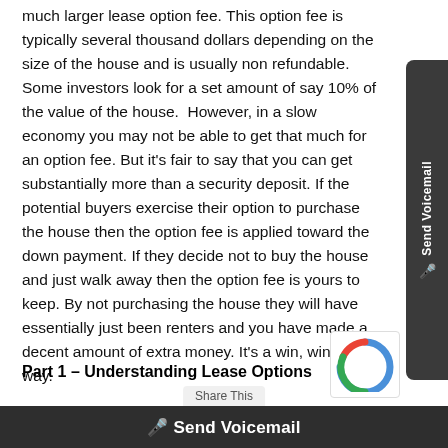much larger lease option fee. This option fee is typically several thousand dollars depending on the size of the house and is usually non refundable. Some investors look for a set amount of say 10% of the value of the house. However, in a slow economy you may not be able to get that much for an option fee. But it's fair to say that you can get substantially more than a security deposit. If the potential buyers exercise their option to purchase the house then the option fee is applied toward the down payment. If they decide not to buy the house and just walk away then the option fee is yours to keep. By not purchasing the house they will have essentially just been renters and you have made a decent amount of extra money. It's a win, win either way.
Part 1 – Understanding Lease Options
If you missed part 1 of this article,